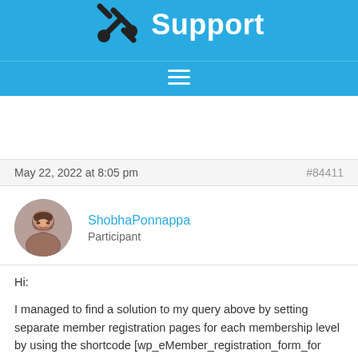Support
May 22, 2022 at 8:05 pm   #84411
ShobhaPonnappa
Participant
Hi:

I managed to find a solution to my query above by setting separate member registration pages for each membership level by using the shortcode [wp_eMember_registration_form_for level=1].

That allows people to register for each membership...